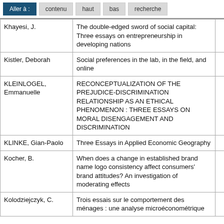Aller à : | contenu | haut | bas | recherche
| Author | Title | Year |
| --- | --- | --- |
| Khayesi, J. | The double-edged sword of social capital: Three essays on entrepreneurship in developing nations | 2010 |
| Kistler, Deborah | Social preferences in the lab, in the field, and online | 2017 |
| KLEINLOGEL, Emmanuelle | RECONCEPTUALIZATION OF THE PREJUDICE-DISCRIMINATION RELATIONSHIP AS AN ETHICAL PHENOMENON : THREE ESSAYS ON MORAL DISENGAGEMENT AND DISCRIMINATION | 2014 |
| KLINKE, Gian-Paolo | Three Essays in Applied Economic Geography | 2017 |
| Kocher, B. | When does a change in established brand name logo consistency affect consumers' brand attitudes? An investigation of moderating effects | 2008 |
| Kolodziejczyk, C. | Trois essais sur le comportement des ménages : une analyse microéconométrique | 2004 |